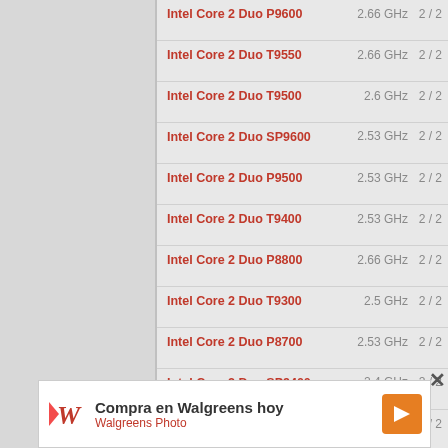Intel Core 2 Duo P9600  2.66 GHz  2 / 2
Intel Core 2 Duo T9550  2.66 GHz  2 / 2
Intel Core 2 Duo T9500  2.6 GHz  2 / 2
Intel Core 2 Duo SP9600  2.53 GHz  2 / 2
Intel Core 2 Duo P9500  2.53 GHz  2 / 2
Intel Core 2 Duo T9400  2.53 GHz  2 / 2
Intel Core 2 Duo P8800  2.66 GHz  2 / 2
Intel Core 2 Duo T9300  2.5 GHz  2 / 2
Intel Core 2 Duo P8700  2.53 GHz  2 / 2
Intel Core 2 Duo SP9400  2.4 GHz  2 / 2
Intel Core 2 Duo P8600  2.4 GHz  2 / 2
Intel Core 2 Duo T8300  2.4 GHz  2 / 2
Intel Core 2 Duo SP9300  2.26 GHz  2 / 2
Compra en Walgreens hoy — Walgreens Photo